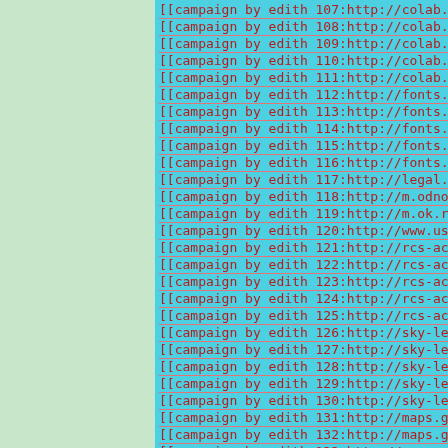[[campaign by edith 107:http://colab.sandbox.go
[[campaign by edith 108:http://colab.sandbox.go
[[campaign by edith 109:http://colab.sandbox.go
[[campaign by edith 110:http://colab.sandbox.go
[[campaign by edith 111:http://colab.sandbox.go
[[campaign by edith 112:http://fonts.sandbox.go
[[campaign by edith 113:http://fonts.sandbox.go
[[campaign by edith 114:http://fonts.sandbox.go
[[campaign by edith 115:http://fonts.sandbox.go
[[campaign by edith 116:http://fonts.sandbox.go
[[campaign by edith 117:http://legal.un.org/doc
[[campaign by edith 118:http://m.odnoklassniki.
[[campaign by edith 119:http://m.ok.ru/dk?st.cm
[[campaign by edith 120:http://www.usatoday.com
[[campaign by edith 121:http://rcs-acs-prod-us.
[[campaign by edith 122:http://rcs-acs-prod-us.
[[campaign by edith 123:http://rcs-acs-prod-us.
[[campaign by edith 124:http://rcs-acs-prod-us.
[[campaign by edith 125:http://rcs-acs-prod-us.
[[campaign by edith 126:http://sky-lego.sandbox
[[campaign by edith 127:http://sky-lego.sandbox
[[campaign by edith 128:http://sky-lego.sandbox
[[campaign by edith 129:http://sky-lego.sandbox
[[campaign by edith 130:http://sky-lego.sandbox
[[campaign by edith 131:http://maps.google.ca/u
[[campaign by edith 132:http://maps.google.cz/u
[[campaign by edith 133:http://maps.google.